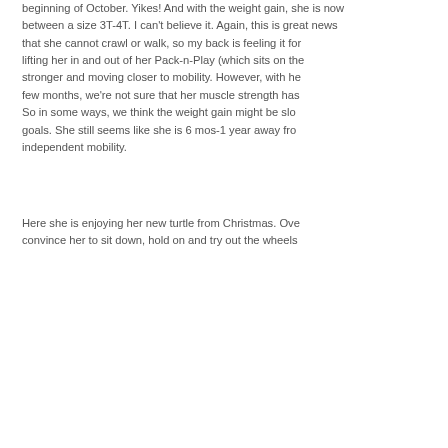beginning of October. Yikes! And with the weight gain, she is now between a size 3T-4T. I can't believe it. Again, this is great news that she cannot crawl or walk, so my back is feeling it from lifting her in and out of her Pack-n-Play (which sits on the stronger and moving closer to mobility. However, with her few months, we're not sure that her muscle strength has So in some ways, we think the weight gain might be slow goals. She still seems like she is 6 mos-1 year away from independent mobility.
Here she is enjoying her new turtle from Christmas. Ove convince her to sit down, hold on and try out the wheels